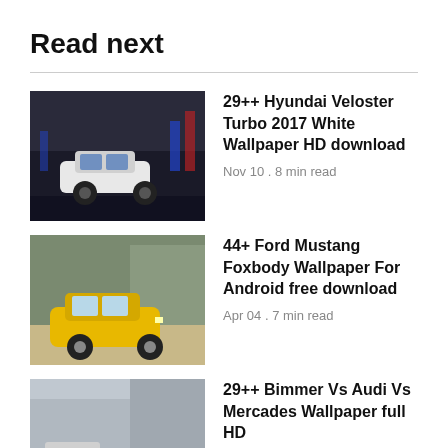Read next
29++ Hyundai Veloster Turbo 2017 White Wallpaper HD download
Nov 10 . 8 min read
44+ Ford Mustang Foxbody Wallpaper For Android free download
Apr 04 . 7 min read
29++ Bimmer Vs Audi Vs Mercades Wallpaper full HD
Oct 07 . 9 min read
14++ Karen Ford The Yellow Wallpaper And Womens Discourse Summary full HD